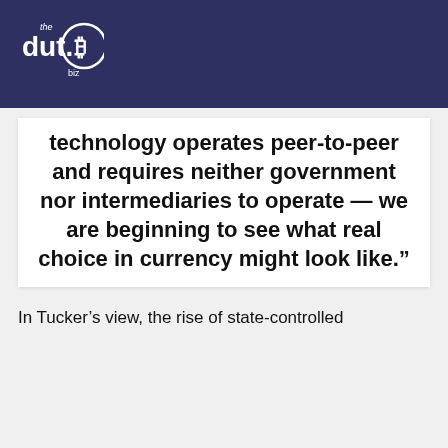the dut.B biz
technology operates peer-to-peer and requires neither government nor intermediaries to operate — we are beginning to see what real choice in currency might look like."
In Tucker’s view, the rise of state-controlled